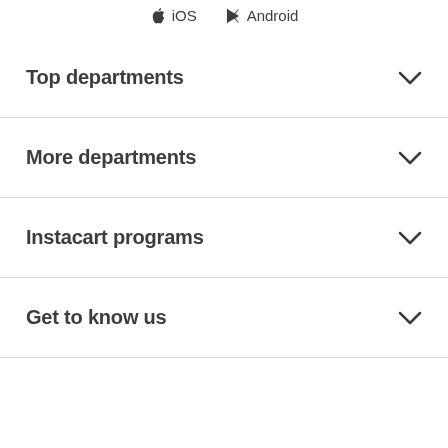iOS   Android
Top departments
More departments
Instacart programs
Get to know us